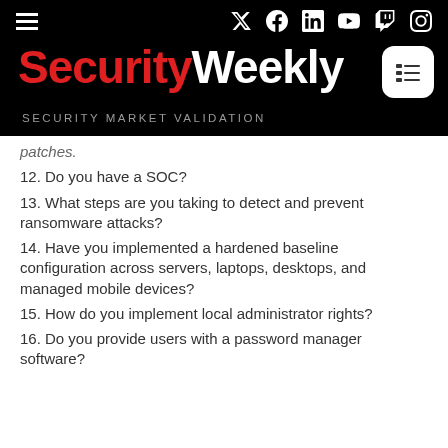Security Weekly — SECURITY MARKET VALIDATION
12. Do you have a SOC?
13. What steps are you taking to detect and prevent ransomware attacks?
14. Have you implemented a hardened baseline configuration across servers, laptops, desktops, and managed mobile devices?
15. How do you implement local administrator rights?
16. Do you provide users with a password manager software?